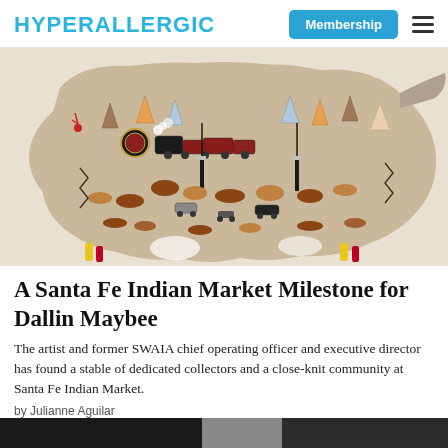HYPERALLERGIC | Membership
[Figure (photo): A decorated hide or leather artwork featuring colorful painted scenes including tepees, a steam locomotive train, horses, riders, cars, motorcycles, and various figures on a tan/brown background shaped like an animal hide.]
A Santa Fe Indian Market Milestone for Dallin Maybee
The artist and former SWAIA chief operating officer and executive director has found a stable of dedicated collectors and a close-knit community at Santa Fe Indian Market.
by Julianne Aguilar